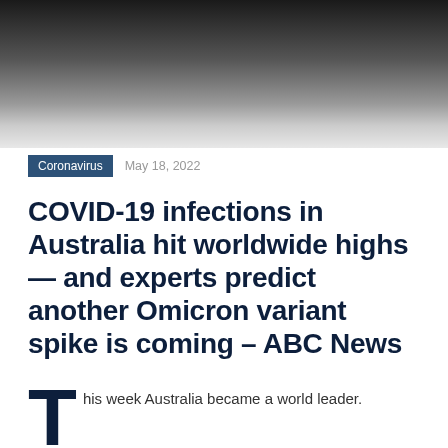[Figure (photo): Dark gradient hero image transitioning from black at top to light grey at bottom]
Coronavirus   May 18, 2022
COVID-19 infections in Australia hit worldwide highs — and experts predict another Omicron variant spike is coming – ABC News
This week Australia became a world leader.